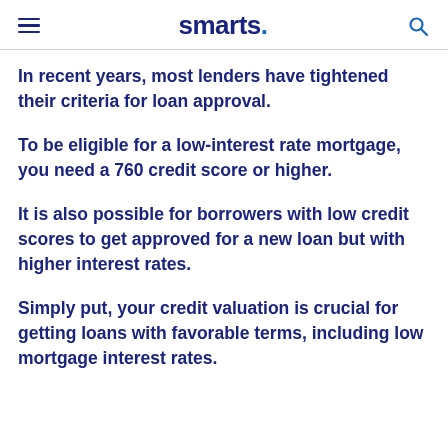smarts.
In recent years, most lenders have tightened their criteria for loan approval.
To be eligible for a low-interest rate mortgage, you need a 760 credit score or higher.
It is also possible for borrowers with low credit scores to get approved for a new loan but with higher interest rates.
Simply put, your credit valuation is crucial for getting loans with favorable terms, including low mortgage interest rates.